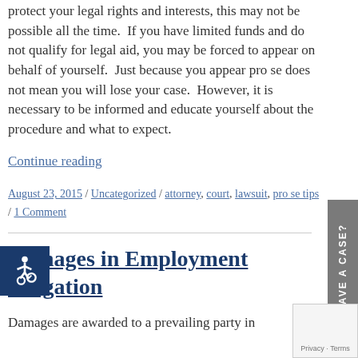protect your legal rights and interests, this may not be possible all the time.  If you have limited funds and do not qualify for legal aid, you may be forced to appear on behalf of yourself.  Just because you appear pro se does not mean you will lose your case.  However, it is necessary to be informed and educate yourself about the procedure and what to expect.
Continue reading
August 23, 2015 / Uncategorized / attorney, court, lawsuit, pro se tips / 1 Comment
Damages in Employment Litigation
Damages are awarded to a prevailing party in